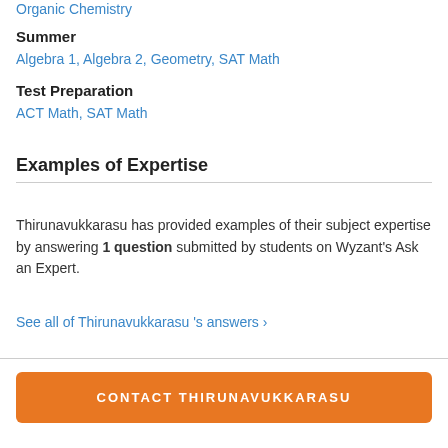Organic Chemistry
Summer
Algebra 1, Algebra 2, Geometry, SAT Math
Test Preparation
ACT Math, SAT Math
Examples of Expertise
Thirunavukkarasu has provided examples of their subject expertise by answering 1 question submitted by students on Wyzant's Ask an Expert.
See all of Thirunavukkarasu 's answers ›
CONTACT THIRUNAVUKKARASU